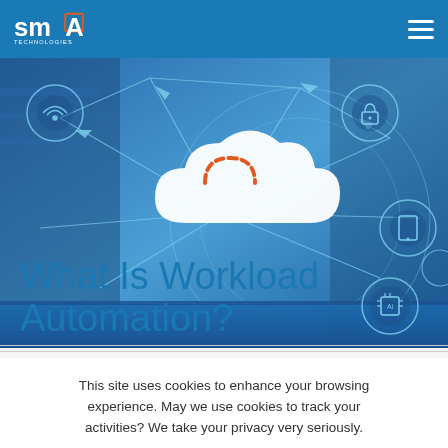SMA Technologies
[Figure (illustration): Hero banner with blue technology/network background showing cloud icon with dashed orange outline in center, surrounded by glowing white network lines connecting icons for wifi, lock/security, tablet, AI chip, and other tech symbols. Title overlay reads 'What Is Workload Automation?' in blue text.]
What Is Workload Automation?
This site uses cookies to enhance your browsing experience. May we use cookies to track your activities? We take your privacy very seriously.